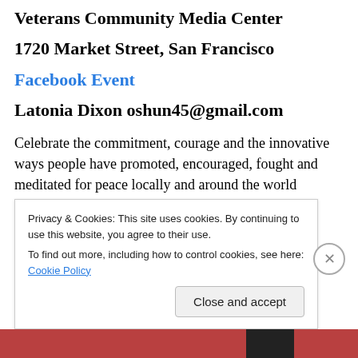Veterans Community Media Center
1720 Market Street, San Francisco
Facebook Event
Latonia Dixon oshun45@gmail.com
Celebrate the commitment, courage and the innovative ways people have promoted, encouraged, fought and meditated for peace locally and around the world
Privacy & Cookies: This site uses cookies. By continuing to use this website, you agree to their use.
To find out more, including how to control cookies, see here: Cookie Policy
Close and accept